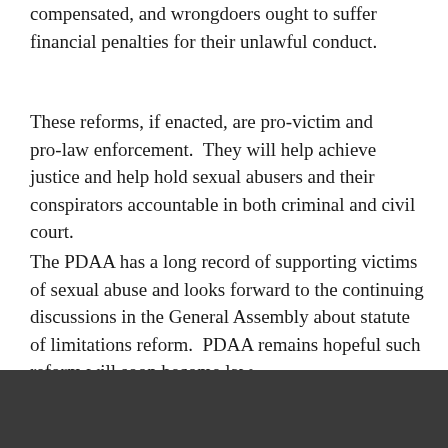compensated, and wrongdoers ought to suffer financial penalties for their unlawful conduct.
These reforms, if enacted, are pro-victim and pro-law enforcement. They will help achieve justice and help hold sexual abusers and their conspirators accountable in both criminal and civil court.
The PDAA has a long record of supporting victims of sexual abuse and looks forward to the continuing discussions in the General Assembly about statute of limitations reform. PDAA remains hopeful such reform will soon become law.